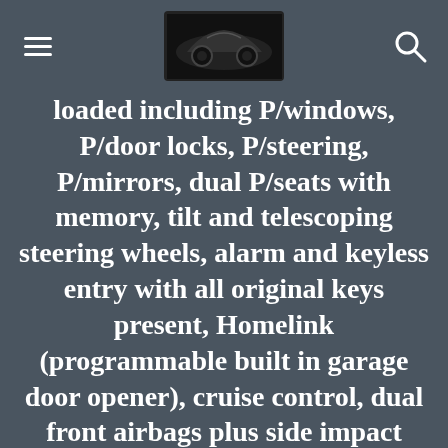[hamburger menu] [car logo image] [search icon]
loaded including P/windows, P/door locks, P/steering, P/mirrors, dual P/seats with memory, tilt and telescoping steering wheels, alarm and keyless entry with all original keys present, Homelink (programmable built in garage door opener), cruise control, dual front airbags plus side impact airbags, premium original AMG wheels with 4 brand new tires, cold climate package with heated seats, sport front grille, sport fog lights, Xenon headlights, all original books and manuals, original floor mats and much more. Needs nothing, runs excellent and recently passed smog and is priced below others for a quick sale.